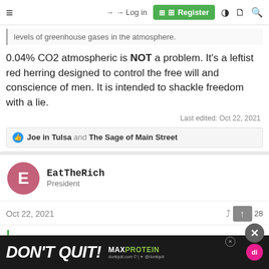≡   → Log in   ⊞ Register
levels of greenhouse gases in the atmosphere.
0.04% CO2 atmospheric is NOT a problem. It's a leftist red herring designed to control the free will and conscience of men. It is intended to shackle freedom with a lie.
Last edited: Oct 22, 2021
👍 Joe in Tulsa and The Sage of Main Street
EatTheRich
President
Oct 22, 2021